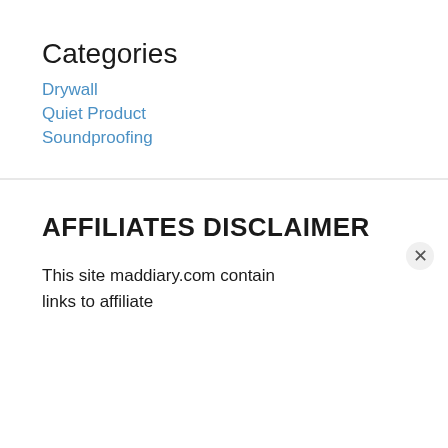Categories
Drywall
Quiet Product
Soundproofing
AFFILIATES DISCLAIMER
This site maddiary.com contain links to affiliate